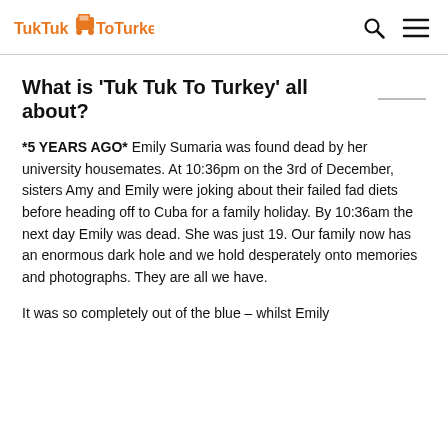TukTuk To Turkey
What is 'Tuk Tuk To Turkey' all about?
*5 YEARS AGO* Emily Sumaria was found dead by her university housemates. At 10:36pm on the 3rd of December, sisters Amy and Emily were joking about their failed fad diets before heading off to Cuba for a family holiday. By 10:36am the next day Emily was dead. She was just 19. Our family now has an enormous dark hole and we hold desperately onto memories and photographs. They are all we have.
It was so completely out of the blue – whilst Emily